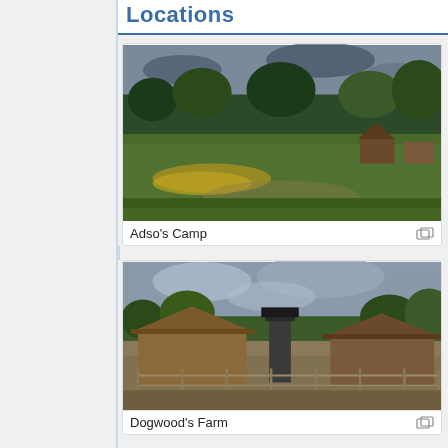Locations
[Figure (photo): Game screenshot showing Adso's Camp — a grassy outdoor area with trees, wildflowers, and rustic camp structures under a cloudy sky]
Adso's Camp
[Figure (photo): Game screenshot showing Dogwood's Farm — wooden farm buildings with a watchtower, fenced paddock area, and trees in the background under a partly cloudy sky]
Dogwood's Farm